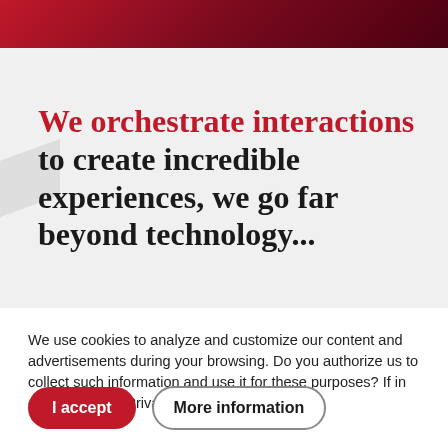[Figure (photo): Dark red/crimson banner with partial image at top of page]
We orchestrate interactions to create incredible experiences, we go far beyond technology...
We use cookies to analyze and customize our content and advertisements during your browsing. Do you authorize us to collect such information and use it for these purposes? If in doubt, visit our Privacy Policy.
I accept
More information